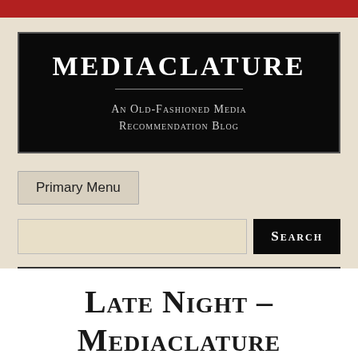Mediaclature
An Old-Fashioned Media Recommendation Blog
Primary Menu
Search
Late Night – Mediaclature